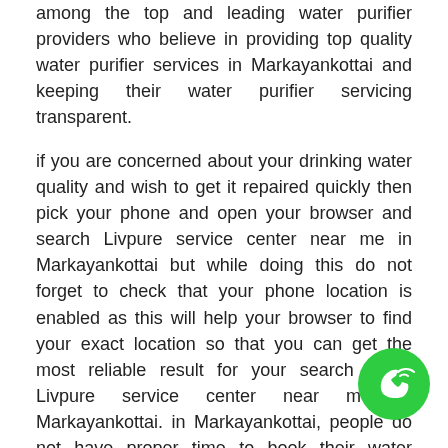among the top and leading water purifier providers who believe in providing top quality water purifier services in Markayankottai and keeping their water purifier servicing transparent.
if you are concerned about your drinking water quality and wish to get it repaired quickly then pick your phone and open your browser and search Livpure service center near me in Markayankottai but while doing this do not forget to check that your phone location is enabled as this will help your browser to find your exact location so that you can get the most reliable result for your search query Livpure service center near me in Markayankottai. in Markayankottai, people do not have proper time to book their water purifier services to overcome this issues Livpure offering water purifier booking facilities via phone calls, SMS, by visiting website and email this allows Markayankottai's people to book their water purifier service without visiting
[Figure (illustration): Green circular phone call icon in the bottom right corner]